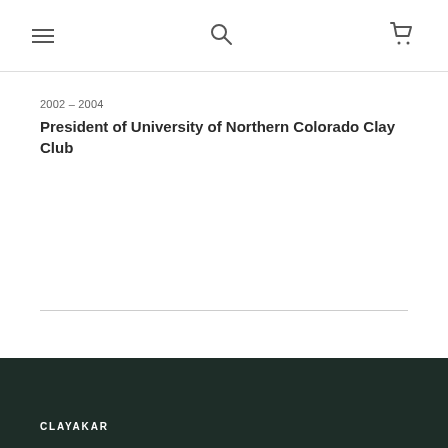Navigation icons: menu, search, cart
2002 – 2004
President of University of Northern Colorado Clay Club
CLAYAKAR